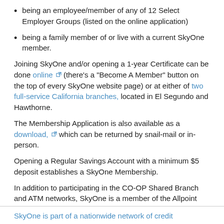being an employee/member of any of 12 Select Employer Groups (listed on the online application)
being a family member of or live with a current SkyOne member.
Joining SkyOne and/or opening a 1-year Certificate can be done online (there's a "Become A Member" button on the top of every SkyOne website page) or at either of two full-service California branches, located in El Segundo and Hawthorne.
The Membership Application is also available as a download, which can be returned by snail-mail or in-person.
Opening a Regular Savings Account with a minimum $5 deposit establishes a SkyOne Membership.
In addition to participating in the CO-OP Shared Branch and ATM networks, SkyOne is a member of the Allpoint and STARsf ATM networks.
SkyOne is part of a nationwide network of credit